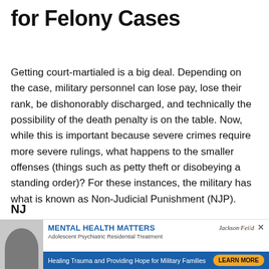for Felony Cases
Getting court-martialed is a big deal. Depending on the case, military personnel can lose pay, lose their rank, be dishonorably discharged, and technically the possibility of the death penalty is on the table. Now, while this is important because severe crimes require more severe rulings, what happens to the smaller offenses (things such as petty theft or disobeying a standing order)? For these instances, the military has what is known as Non-Judicial Punishment (NJP).
NJ
[Figure (advertisement): Mental Health Matters - Adolescent Psychiatric Residential Treatment advertisement for Jackson-Feild Behavioral Health Services. Bottom banner: Healing Trauma and Providing Hope for Military Families. Learn More button.]